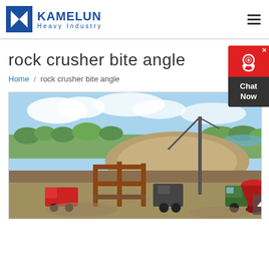KAMELUN Heavy Industry
rock crusher bite angle
Home / rock crusher bite angle
[Figure (photo): Aerial view of a rock crusher construction site with heavy machinery, a large pile of crushed rock/gravel, a crane, trucks, and green trees in the background under a partly cloudy blue sky.]